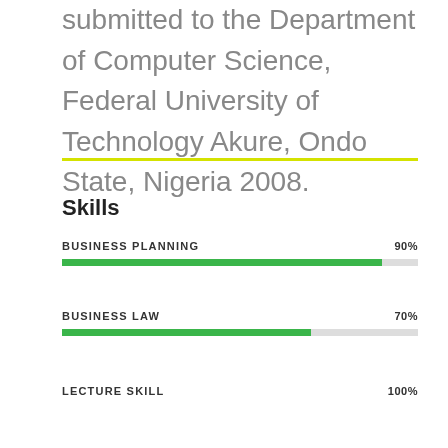submitted to the Department of Computer Science, Federal University of Technology Akure, Ondo State, Nigeria 2008.
[Figure (other): Yellow horizontal divider line]
Skills
[Figure (bar-chart): Skills]
BUSINESS PLANNING 90%
BUSINESS LAW 70%
LECTURE SKILL 100%